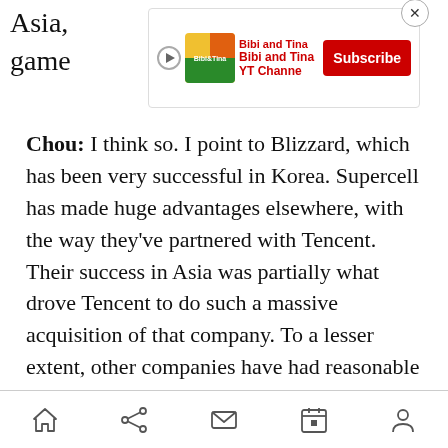Asia, game
[Figure (screenshot): Advertisement banner for Bibi and Tina YouTube Channel with Subscribe button and close (X) button]
Chou: I think so. I point to Blizzard, which has been very successful in Korea. Supercell has made huge advantages elsewhere, with the way they've partnered with Tencent. Their success in Asia was partially what drove Tencent to do such a massive acquisition of that company. To a lesser extent, other companies have had reasonable success in that market, even though they haven't become big players. More and more companies are figuring it out.
[Figure (photo): Black and white portrait photo showing the top of a person's head with dark hair against a grey background]
Home | Share | Mail | Calendar | Profile navigation icons